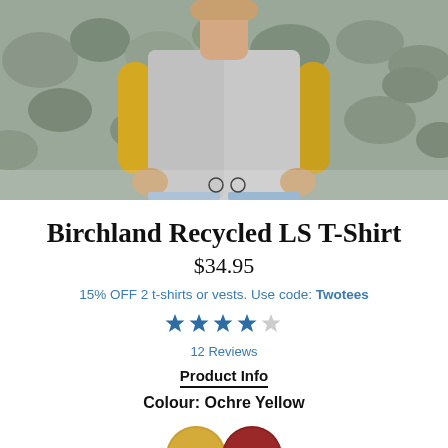[Figure (photo): Man wearing a grey long-sleeve t-shirt with yellow underlayer, standing outdoors in front of rocky background. Two circle navigation dots visible at bottom of image.]
Birchland Recycled LS T-Shirt
$34.95
15% OFF 2 t-shirts or vests. Use code: Twotees
[Figure (other): 4.5 star rating displayed as filled and half-filled stars in dark blue/teal color]
12 Reviews
Product Info
Colour: Ochre Yellow
[Figure (other): Two circular color swatches — ochre yellow and dark red/burgundy — partially visible at bottom of page]